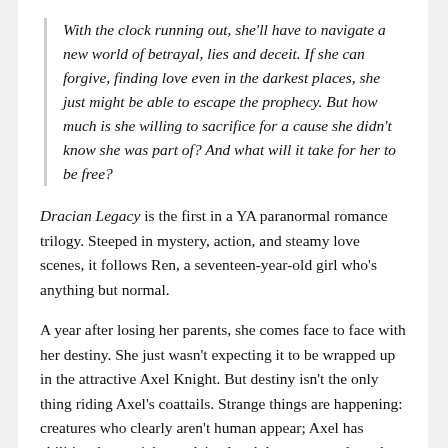With the clock running out, she'll have to navigate a new world of betrayal, lies and deceit. If she can forgive, finding love even in the darkest places, she just might be able to escape the prophecy. But how much is she willing to sacrifice for a cause she didn't know she was part of? And what will it take for her to be free?
Dracian Legacy is the first in a YA paranormal romance trilogy. Steeped in mystery, action, and steamy love scenes, it follows Ren, a seventeen-year-old girl who's anything but normal.
A year after losing her parents, she comes face to face with her destiny. She just wasn't expecting it to be wrapped up in the attractive Axel Knight. But destiny isn't the only thing riding Axel's coattails. Strange things are happening: creatures who clearly aren't human appear; Axel has abilities that can't be explained and that, apparently, only she sees; and her best friend–Dean–suddenly finds her irresistible after treating her like dirt for the past four years. Confused, Ren struggles to understand, until finally, she stumbles on the truth: